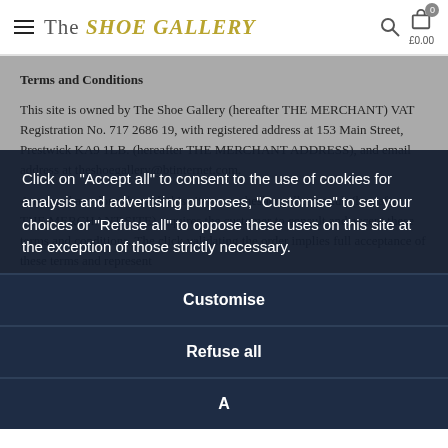The SHOE GALLERY
Terms and Conditions
This site is owned by The Shoe Gallery (hereafter THE MERCHANT) VAT Registration No. 717 2686 19, with registered address at 153 Main Street, Prestwick KA9 1LB. (hereafter THE MERCHANT ADDRESS), and email address at theshoegallery@btinternet.com.
Any purchase done through this site www.theshoegallery.co.uk (hereafter THE MERCHANT SITE) requires the customer to consult and accept these terms and conditions. The click validating the order implies full acceptance of these terms and represent
Purpose
These te                                                                                                                      fine the
Click on "Accept all" to consent to the use of cookies for analysis and advertising purposes, "Customise" to set your choices or "Refuse all" to oppose these uses on this site at the exception of those strictly necessary.